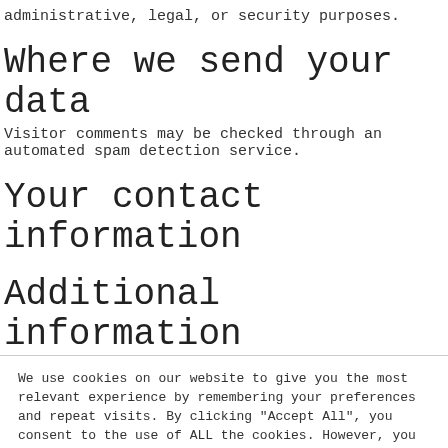administrative, legal, or security purposes.
Where we send your data
Visitor comments may be checked through an automated spam detection service.
Your contact information
Additional information
We use cookies on our website to give you the most relevant experience by remembering your preferences and repeat visits. By clicking "Accept All", you consent to the use of ALL the cookies. However, you may visit "Cookie Settings" to provide a controlled consent.